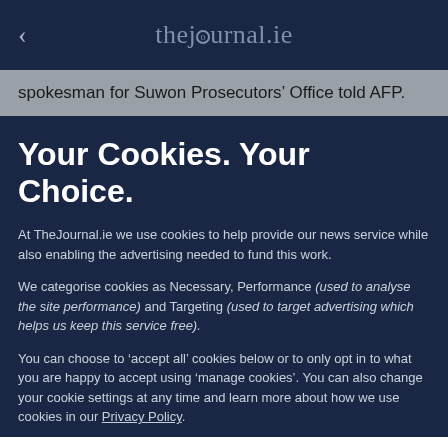thejournal.ie
spokesman for Suwon Prosecutors’ Office told AFP.
Your Cookies. Your Choice.
At TheJournal.ie we use cookies to help provide our news service while also enabling the advertising needed to fund this work.
We categorise cookies as Necessary, Performance (used to analyse the site performance) and Targeting (used to target advertising which helps us keep this service free).
You can choose to ‘accept all’ cookies below or to only opt in to what you are happy to accept using ‘manage cookies’. You can also change your cookie settings at any time and learn more about how we use cookies in our Privacy Policy.